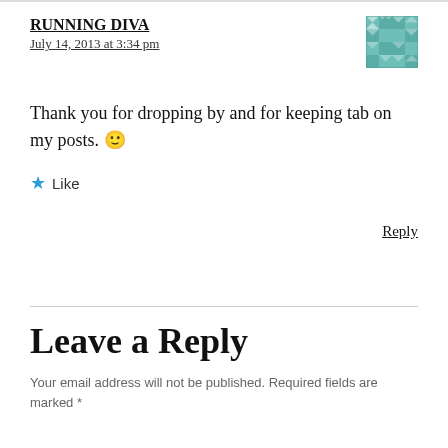RUNNING DIVA
July 14, 2013 at 3:34 pm
[Figure (illustration): Teal and white geometric quilt/mosaic pattern avatar image]
Thank you for dropping by and for keeping tab on my posts. 🙂
★ Like
Reply
Leave a Reply
Your email address will not be published. Required fields are marked *